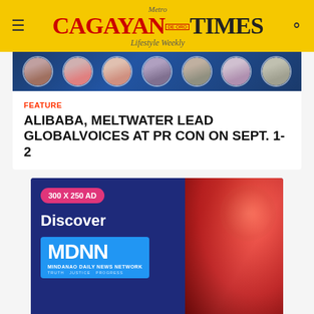Metro Cagayan de Oro Times — Lifestyle Weekly
[Figure (photo): Horizontal banner with circular avatar photos of people on a dark blue background]
FEATURE
ALIBABA, MELTWATER LEAD GLOBALVOICES AT PR CON ON SEPT. 1-2
[Figure (photo): 300 x 250 advertisement for MDNN – Mindanao Daily News Network. Shows 'Discover MDNN' text with a woman on red background. Tagline: Truth Justice Progress.]